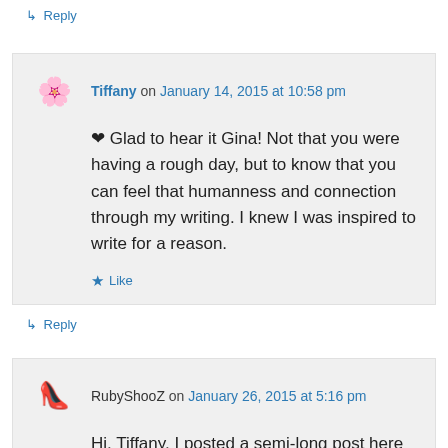↳ Reply
Tiffany on January 14, 2015 at 10:58 pm
❤ Glad to hear it Gina! Not that you were having a rough day, but to know that you can feel that humanness and connection through my writing. I knew I was inspired to write for a reason.
★ Like
↳ Reply
RubyShooZ on January 26, 2015 at 5:16 pm
Hi, Tiffany, I posted a semi-long post here